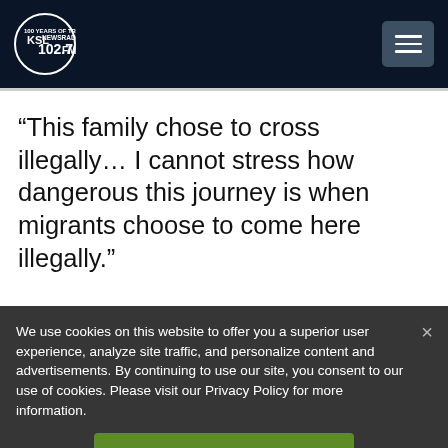[Figure (logo): KSL NewsRadio 102.7 FM logo with circle and '100 Years of Trust' text]
“This family chose to cross illegally… I cannot stress how dangerous this journey is when migrants choose to come here illegally.”
We use cookies on this website to offer you a superior user experience, analyze site traffic, and personalize content and advertisements. By continuing to use our site, you consent to our use of cookies. Please visit our Privacy Policy for more information.
Accept Cookies